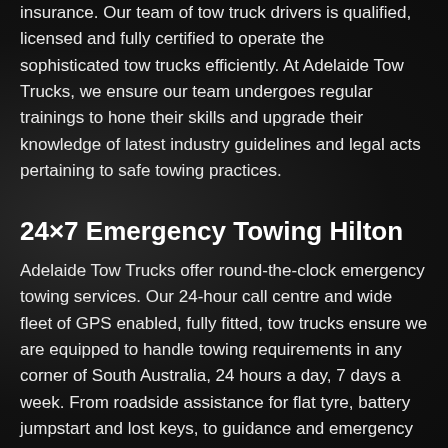insurance. Our team of tow truck drivers is qualified, licensed and fully certified to operate the sophisticated tow trucks efficiently. At Adelaide Tow Trucks, we ensure our team undergoes regular trainings to hone their skills and upgrade their knowledge of latest industry guidelines and legal acts pertaining to safe towing practices.
24×7 Emergency Towing Hilton
Adelaide Tow Trucks offer round-the-clock emergency towing services. Our 24-hour call centre and wide fleet of GPS enabled, fully fitted, tow trucks ensure we are equipped to handle towing requirements in any corner of South Australia, 24 hours a day, 7 days a week. From roadside assistance for flat tyre, battery jumpstart and lost keys, to guidance and emergency towing – we are there for all your needs. When you call us for emergency towing, our mission is to get you back to